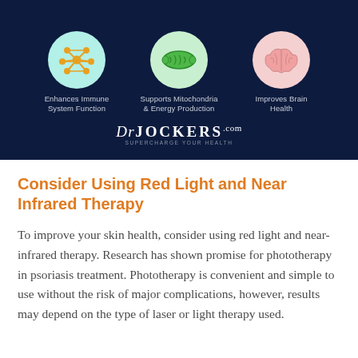[Figure (infographic): Dark navy blue infographic panel showing three circular icons on teal backgrounds: a molecule/chemical structure (gold), a bacterium/mitochondria (green), and a brain (pink). Labels beneath read 'Enhances Immune System Function', 'Supports Mitochondria & Energy Production', 'Improves Brain Health'. DrJockers.com logo centered at bottom with tagline 'Supercharge Your Health'.]
Consider Using Red Light and Near Infrared Therapy
To improve your skin health, consider using red light and near-infrared therapy. Research has shown promise for phototherapy in psoriasis treatment. Phototherapy is convenient and simple to use without the risk of major complications, however, results may depend on the type of laser or light therapy used.